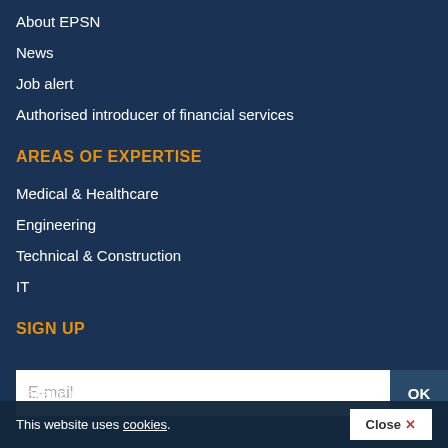About EPSN
News
Job alert
Authorised introducer of financial services
AREAS OF EXPERTISE
Medical & Healthcare
Engineering
Technical & Construction
IT
SIGN UP
E-mail
OK
This website uses cookies.
Close ✕
Receive updates and news. We don't spam.